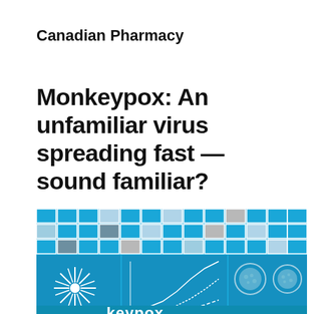Canadian Pharmacy
Monkeypox: An unfamiliar virus spreading fast — sound familiar?
[Figure (illustration): Infographic-style illustration featuring a blue tiled grid background with various panels: a starburst/virus graphic on left, line charts in the center, circular monkeypox virus images on the right, and the word 'keypox' visible at the bottom in white text on blue background.]